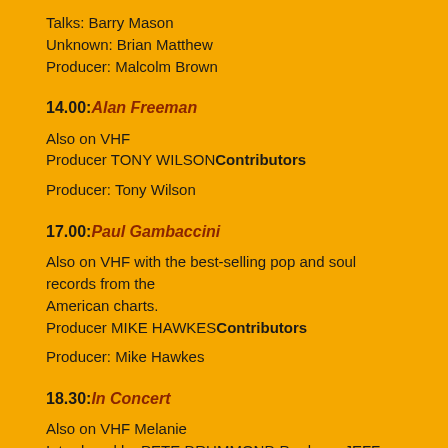Talks: Barry Mason
Unknown: Brian Matthew
Producer: Malcolm Brown
14.00: Alan Freeman
Also on VHF
Producer TONY WILSONContributors
Producer: Tony Wilson
17.00: Paul Gambaccini
Also on VHF with the best-selling pop and soul records from the American charts.
Producer MIKE HAWKESContributors
Producer: Mike Hawkes
18.30: In Concert
Also on VHF Melanie
Introduced by PETE DRUMMOND Producer JEFF GRIFFINContributors
Introduced By: Pete Drummond
Producer: Jeff Griffin